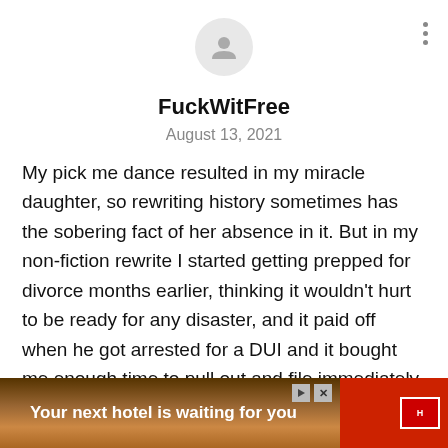[Figure (illustration): User avatar circle with generic person icon, and a three-dot menu in top right corner]
FuckWitFree
August 13, 2021
My pick me dance resulted in my miracle daughter, so rewriting history sometimes has the sobering fact of her absence in it. But in my non-fiction rewrite I started getting prepped for divorce months earlier, thinking it wouldn't hurt to be ready for any disaster, and it paid off when he got arrested for a DUI and it bought me enough time to pull out and file immediately. Poor baby said HE was traumatized! I started over with now 18 yo daughter and it's been a struggle, but no more erratically employed angry... holic
[Figure (screenshot): Advertisement banner: 'Your next hotel is waiting for you' with hotel image background, play and close buttons, and hotel logo]